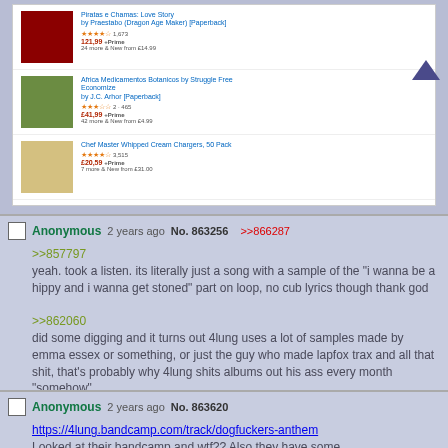[Figure (screenshot): Amazon product listing showing 4 items: 1) Piratas e Chamas book, 2) Africa Medicamentos book, 3) Chef Master Whipped Cream Chargers, 4) Bonsai/Sativita product in yellow box]
Anonymous 2 years ago No. 863256 >>866287
>>857797
yeah. took a listen. its literally just a song with a sample of the "i wanna be a hippy and i wanna get stoned" part on loop, no cub lyrics though thank god
>>862060
did some digging and it turns out 4lung uses a lot of samples made by emma essex or something, or just the guy who made lapfox trax and all that shit, that's probably why 4lung shits albums out his ass every month "somehow"
Anonymous 2 years ago No. 863620
https://4lung.bandcamp.com/track/dogfuckers-anthem
Looked at their bandcamp and wtf?? Also they have some